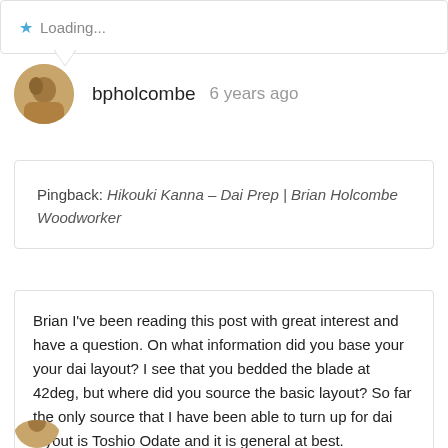★ Loading...
bpholcombe  6 years ago
Pingback: Hikouki Kanna – Dai Prep | Brian Holcombe Woodworker
Brian I've been reading this post with great interest and have a question. On what information did you base your your dai layout? I see that you bedded the blade at 42deg, but where did you source the basic layout? So far the only source that I have been able to turn up for dai layout is Toshio Odate and it is general at best.
★ Loading...